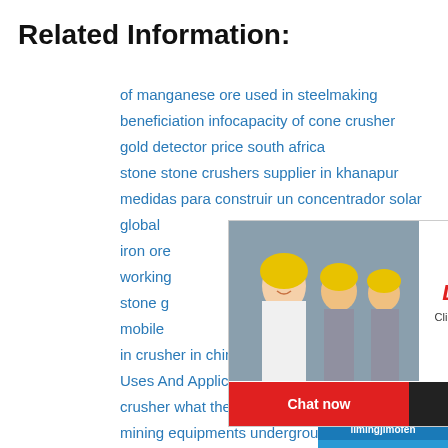Related Information:
of manganese ore used in steelmaking
beneficiation infocapacity of cone crusher
gold detector price south africa
stone stone crushers supplier in khanapur
medidas para construir un concentrador solar
global [...]
iron ore [...] hour online
working [...]
stone g[...]
mobile [...]
in crusher in chimbote sale
Uses And Applications Of Grinding
crusher what the law says in south
mining equipments underground
Price Of Stone Crusher From Germ
[Figure (screenshot): Live chat popup with construction workers wearing yellow helmets in the background, a 'LIVE CHAT - Click for a Free Consultation' heading, and two buttons: 'Chat now' (red) and 'Chat later' (black). Right side shows a blue panel with a crusher machine image and 'Click me to chat>>' button, Enquiry section, and limingjlmofen text at bottom.]